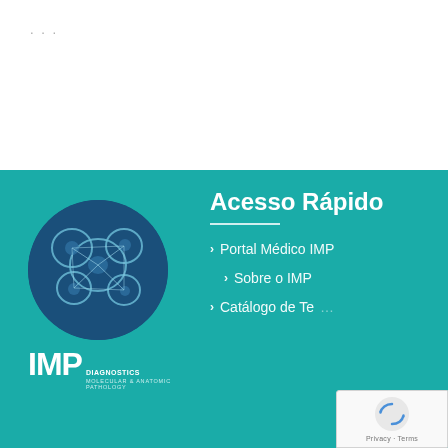...
[Figure (logo): IMP Diagnostics - Molecular & Anatomic Pathology logo: dark blue circle with white cell/pathology illustration, with IMP text and tagline below]
Acesso Rápido
Portal Médico IMP
Sobre o IMP
Catálogo de Te...
[Figure (other): reCAPTCHA widget overlay showing recycling arrows icon with Privacy - Terms text]